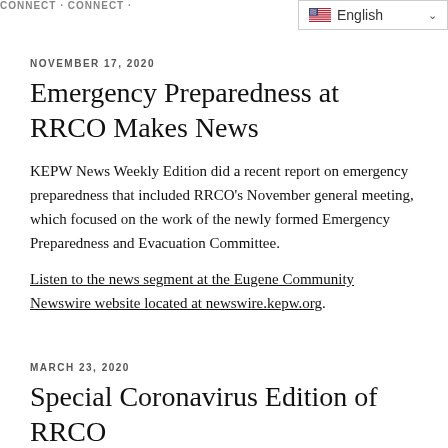English
NOVEMBER 17, 2020
Emergency Preparedness at RRCO Makes News
KEPW News Weekly Edition did a recent report on emergency preparedness that included RRCO’s November general meeting, which focused on the work of the newly formed Emergency Preparedness and Evacuation Committee.
Listen to the news segment at the Eugene Community Newswire website located at newswire.kepw.org.
MARCH 23, 2020
Special Coronavirus Edition of RRCO